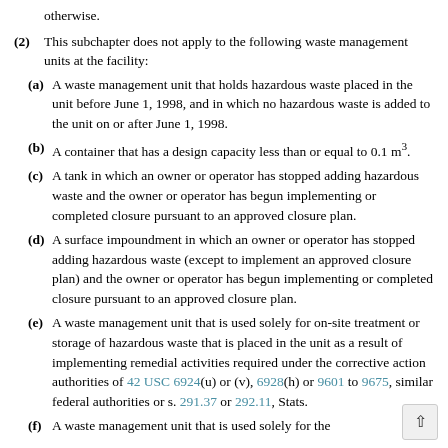otherwise.
(2) This subchapter does not apply to the following waste management units at the facility:
(a) A waste management unit that holds hazardous waste placed in the unit before June 1, 1998, and in which no hazardous waste is added to the unit on or after June 1, 1998.
(b) A container that has a design capacity less than or equal to 0.1 m³.
(c) A tank in which an owner or operator has stopped adding hazardous waste and the owner or operator has begun implementing or completed closure pursuant to an approved closure plan.
(d) A surface impoundment in which an owner or operator has stopped adding hazardous waste (except to implement an approved closure plan) and the owner or operator has begun implementing or completed closure pursuant to an approved closure plan.
(e) A waste management unit that is used solely for on-site treatment or storage of hazardous waste that is placed in the unit as a result of implementing remedial activities required under the corrective action authorities of 42 USC 6924(u) or (v), 6928(h) or 9601 to 9675, similar federal authorities or s. 291.37 or 292.11, Stats.
(f) A waste management unit that is used solely for the